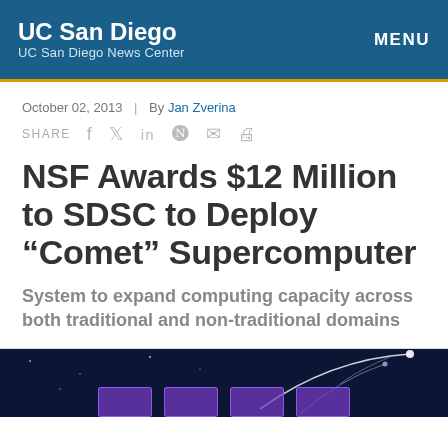UC San Diego | UC San Diego News Center | MENU
October 02, 2013 | By Jan Zverina
SHARE
NSF Awards $12 Million to SDSC to Deploy “Comet” Supercomputer
System to expand computing capacity across both traditional and non-traditional domains
[Figure (photo): Dark space-themed background image with glowing comet arc and purple box elements, related to the Comet supercomputer article]